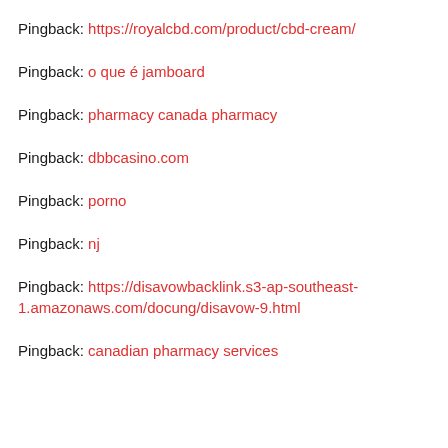Pingback: https://royalcbd.com/product/cbd-cream/
Pingback: o que é jamboard
Pingback: pharmacy canada pharmacy
Pingback: dbbcasino.com
Pingback: porno
Pingback: nj
Pingback: https://disavowbacklink.s3-ap-southeast-1.amazonaws.com/docung/disavow-9.html
Pingback: canadian pharmacy services